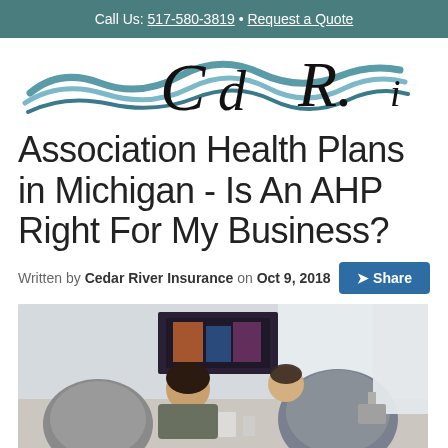Call Us: 517-580-3819 • Request a Quote
[Figure (logo): Cedar River Insurance cursive logo with wave design]
Association Health Plans in Michigan - Is An AHP Right For My Business?
Written by Cedar River Insurance on Oct 9, 2018
[Figure (photo): Office setting with people working at a conference table, viewed from behind chairs]